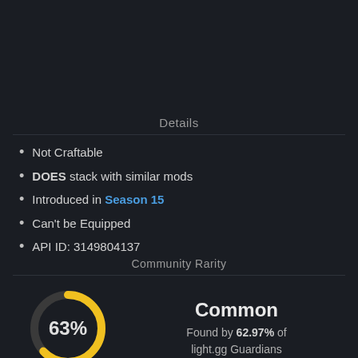Details
Not Craftable
DOES stack with similar mods
Introduced in Season 15
Can't be Equipped
API ID: 3149804137
Community Rarity
[Figure (donut-chart): Community Rarity]
Common
Found by 62.97% of light.gg Guardians